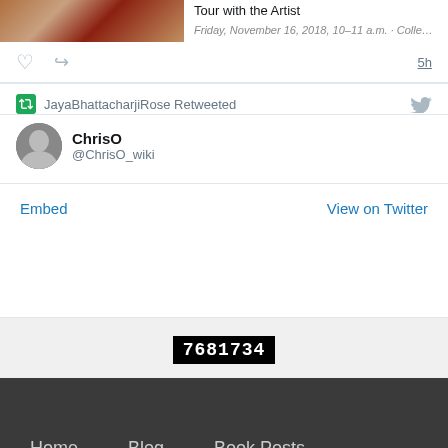[Figure (screenshot): Partial tweet with image showing a person in a red and gold costume, with text 'Tour with the Artist' and a partial date line]
5h
JayaBhattacharjiRose Retweeted
ChrisO @ChrisO_wiki
Embed
View on Twitter
7681734
Home   Blog   Book Posts